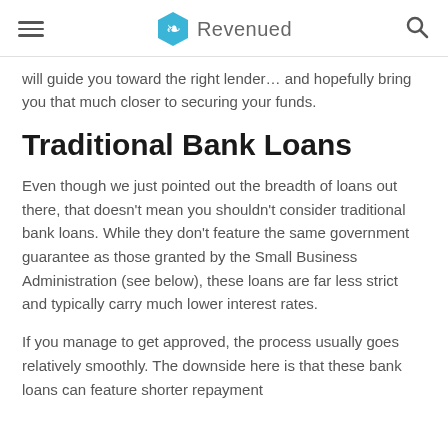Revenued
will guide you toward the right lender… and hopefully bring you that much closer to securing your funds.
Traditional Bank Loans
Even though we just pointed out the breadth of loans out there, that doesn't mean you shouldn't consider traditional bank loans. While they don't feature the same government guarantee as those granted by the Small Business Administration (see below), these loans are far less strict and typically carry much lower interest rates.
If you manage to get approved, the process usually goes relatively smoothly. The downside here is that these bank loans can feature shorter repayment